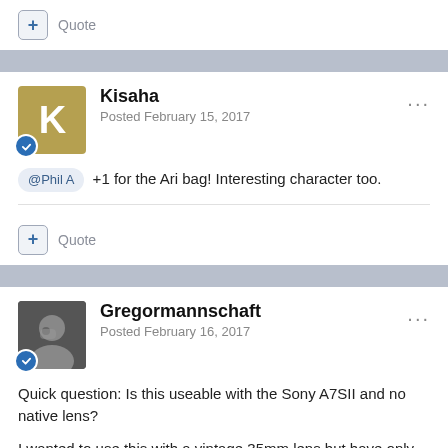+ Quote
Kisaha
Posted February 15, 2017
@Phil A +1 for the Ari bag! Interesting character too.
+ Quote
Gregormannschaft
Posted February 16, 2017
Quick question: Is this useable with the Sony A7SII and no native lens?
I wanted to use this with a vintage 35mm lens but have only now realised that getting focus might be quite difficult, what with the